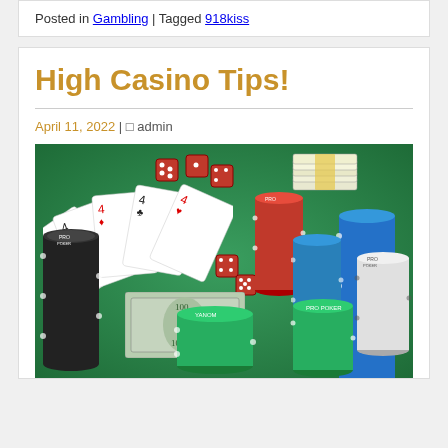Posted in Gambling | Tagged 918kiss
High Casino Tips!
April 11, 2022 | ¤ admin
[Figure (photo): Casino table with playing cards, poker chips in multiple colors (black, red, blue, green, white), dice, and stacks of $100 bills on a green felt surface]